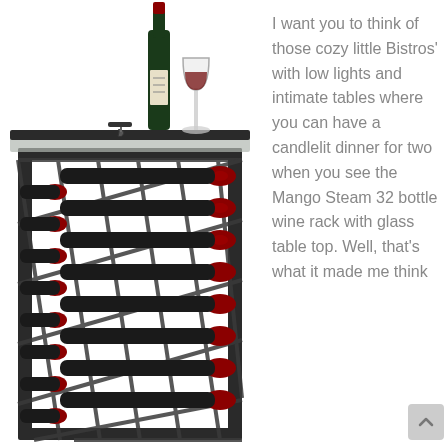[Figure (photo): A metal wine rack (Mango Steam 32 bottle wine rack with glass table top) filled with approximately 32 wine bottles laid horizontally in a diagonal diamond-pattern rack. On top of the rack sits a wine bottle and a wine glass filled with red wine, along with a wine opener.]
I want you to think of those cozy little Bistros' with low lights and intimate tables where you can have a candlelit dinner for two when you see the Mango Steam 32 bottle wine rack with glass table top. Well, that's what it made me think